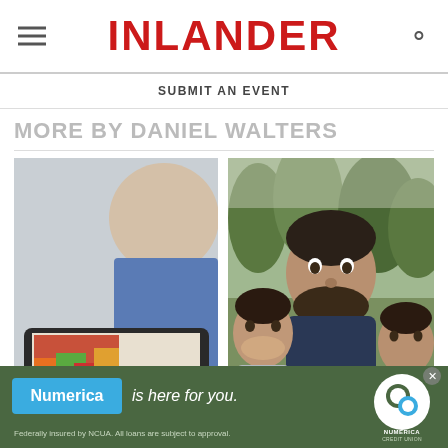INLANDER
SUBMIT AN EVENT
MORE BY DANIEL WALTERS
[Figure (photo): Person working on a laptop displaying a colorful geographic map with charts]
[Figure (photo): Man with two young children taking a selfie outdoors]
[Figure (infographic): Numerica Credit Union advertisement banner: 'Numerica is here for you. Federally insured by NCUA. All loans are subject to approval.']